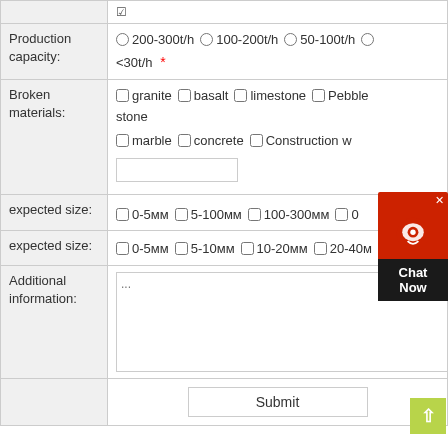| Production capacity: | 200-300t/h  100-200t/h  50-100t/h  <30t/h * |
| Broken materials: | granite  basalt  limestone  Pebble stone  marble  concrete  Construction w[aste] |
| expected size: | 0-5мм  5-100мм  100-300мм  [0mm] |
| expected size: | 0-5мм  5-10мм  10-20мм  20-40м[м] |
| Additional information: | ... |
|  | Submit |